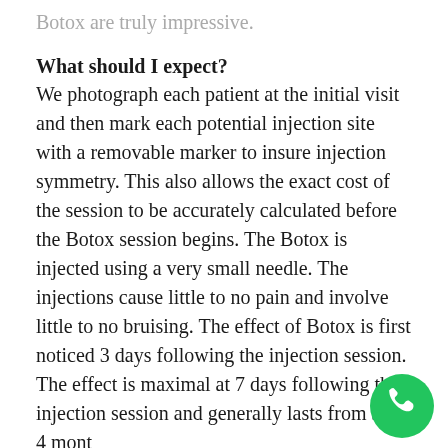Botox are truly impressive.
What should I expect?
We photograph each patient at the initial visit and then mark each potential injection site with a removable marker to insure injection symmetry. This also allows the exact cost of the session to be accurately calculated before the Botox session begins. The Botox is injected using a very small needle. The injections cause little to no pain and involve little to no bruising. The effect of Botox is first noticed 3 days following the injection session. The effect is maximal at 7 days following the injection session and generally lasts from 3 to 4 mont
[Figure (other): Green circular phone call button in the bottom-right corner]